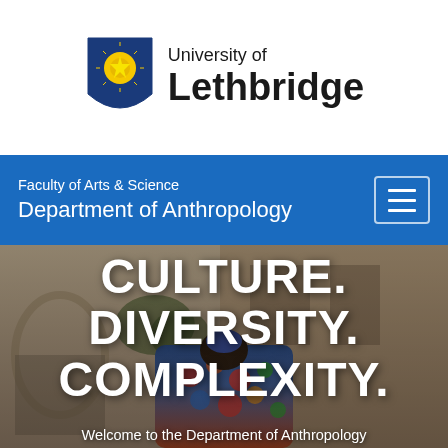[Figure (logo): University of Lethbridge logo with shield crest and university name]
Faculty of Arts & Science
Department of Anthropology
[Figure (photo): Hero background photo of a person in colorful traditional embroidered clothing viewed from behind, standing in front of a building]
CULTURE.
DIVERSITY.
COMPLEXITY.
Welcome to the Department of Anthropology